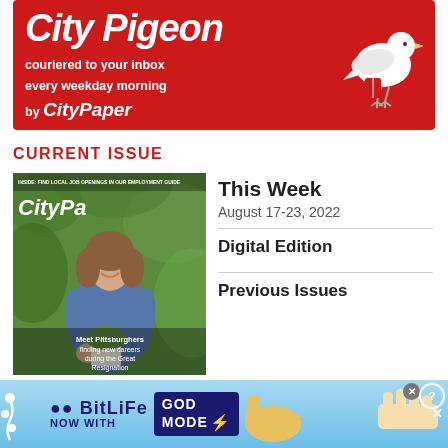[Figure (illustration): City Pigeon red banner ad - 'City Pigeon couriered to your inbox every weekday morning by CityPaper Pittsburgh' with white pigeon graphic on red background]
CURRENT ISSUE
[Figure (photo): Magazine cover of Pittsburgh City Paper showing a woman in overalls holding a plant, with text 'Meet Pittsburghers finding new careers during the Great Resignation']
This Week
August 17-23, 2022
Digital Edition
Previous Issues
[Figure (illustration): BitLife advertisement banner - 'BitLife NOW WITH GOD MODE' on light blue background with hand pointing graphic and close/help buttons]